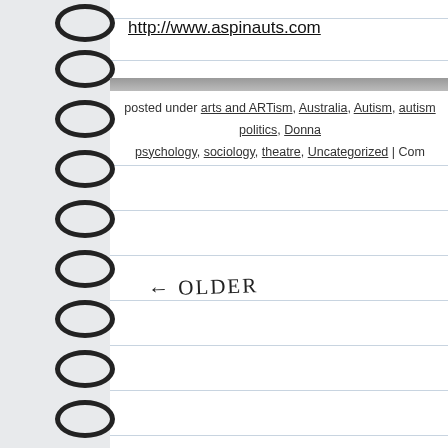http://www.aspinauts.com
posted under arts and ARTism, Australia, Autism, autism politics, Donna, psychology, sociology, theatre, Uncategorized | Com
← OLDER
[Figure (illustration): Decorative floral illustration with colorful swirling leaves and flowers in red, orange, green, purple on teal background]
WHAT IS THIS PLACE?
[Figure (photo): Brown earthy textured photo]
[Figure (other): RSS feed icon - orange square with wifi signal symbol]